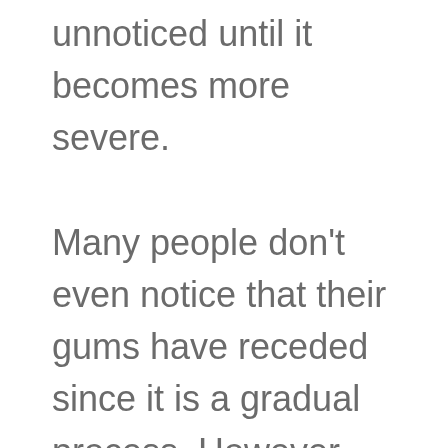unnoticed until it becomes more severe.

Many people don't even notice that their gums have receded since it is a gradual process. However, over time, an exposed tooth root can not only look ugly but can cause tooth sensitivity,